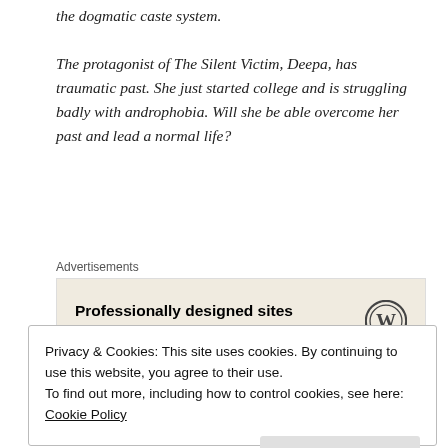the dogmatic caste system.
The protagonist of The Silent Victim, Deepa, has traumatic past. She just started college and is struggling badly with androphobia. Will she be able overcome her past and lead a normal life?
[Figure (other): Advertisement box with text 'Professionally designed sites in less than a week' and WordPress logo on beige background]
In a previous post, I had talked about five things that writing
Privacy & Cookies: This site uses cookies. By continuing to use this website, you agree to their use.
To find out more, including how to control cookies, see here: Cookie Policy
been on the digital shelves.